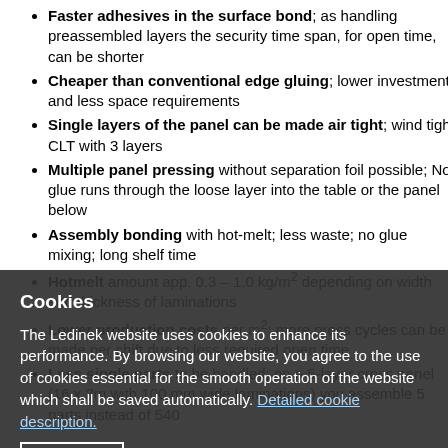Faster adhesives in the surface bond; as handling preassembled layers the security time span, for open time, can be shorter
Cheaper than conventional edge gluing; lower investment and less space requirements
Single layers of the panel can be made air tight; wind tight CLT with 3 layers
Multiple panel pressing without separation foil possible; No glue runs through the loose layer into the table or the panel below
Assembly bonding with hot-melt; less waste; no glue mixing; long shelf time
Hotmelt amount app. 0.3 – 1.0 kg/m² depending on width and thickness of laminations
Lower production costs per m²; more press cycles can be made per shift due to less required open time
Less single parts to be handled; on a 5-layer cross panel (16 x 3m with 100 mm wide laminations) you assemble 5 parts instead of 540
Cookies
The Ledinek website uses cookies to enhance its performance. By browsing our website, you agree to the use of cookies essential for the smooth operation of the website which shall be saved automatically. Detailed cookie description.
I AGREE